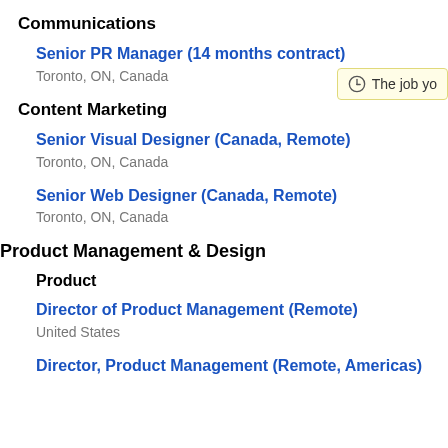Communications
Senior PR Manager (14 months contract)
Toronto, ON, Canada
Content Marketing
Senior Visual Designer (Canada, Remote)
Toronto, ON, Canada
Senior Web Designer (Canada, Remote)
Toronto, ON, Canada
Product Management & Design
Product
Director of Product Management (Remote)
United States
Director, Product Management (Remote, Americas)